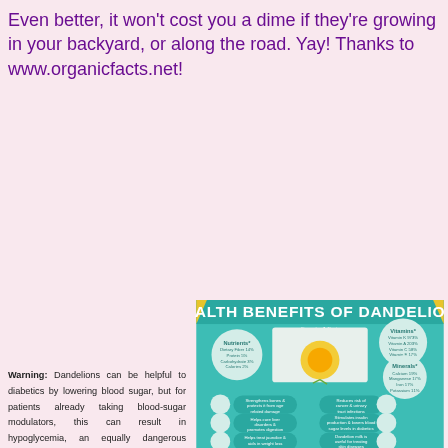Even better, it won't cost you a dime if they're growing in your backyard, or along the road. Yay! Thanks to www.organicfacts.net!
Warning: Dandelions can be helpful to diabetics by lowering blood sugar, but for patients already taking blood-sugar modulators, this can result in hypoglycemia, an equally dangerous condition. Consult your doctor before adding dandelion
[Figure (infographic): Health Benefits of Dandelions infographic from www.organicfacts.net showing nutrients, vitamins, minerals, and health benefits including: Strengthens bones & protects from age related damage, Reduces risk of cancer & urinary tract infections, Helps cure liver disorders & promotes digestion, Stimulates insulin production & lowers blood sugar levels in diabetics, Helps treat jaundice & aids in weight loss, Dandelion milk is useful for treating skin diseases, Dandelion juice is useful in treating acne, Dandelion juice lowers high blood pressure]